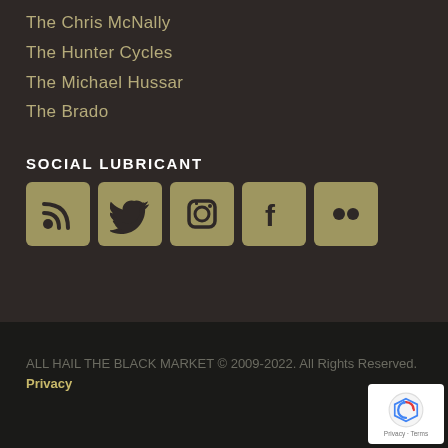The Chris McNally
The Hunter Cycles
The Michael Hussar
The Brado
SOCIAL LUBRICANT
[Figure (infographic): Row of five social media icon buttons (RSS, Twitter, Instagram, Facebook, Flickr) with olive/gold background color]
ALL HAIL THE BLACK MARKET © 2009-2022. All Rights Reserved. Privacy